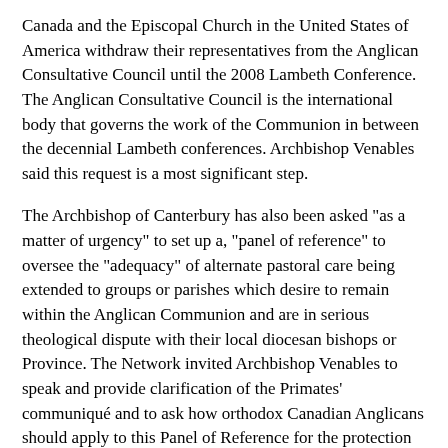Canada and the Episcopal Church in the United States of America withdraw their representatives from the Anglican Consultative Council until the 2008 Lambeth Conference. The Anglican Consultative Council is the international body that governs the work of the Communion in between the decennial Lambeth conferences. Archbishop Venables said this request is a most significant step.
The Archbishop of Canterbury has also been asked "as a matter of urgency" to set up a, "panel of reference" to oversee the "adequacy" of alternate pastoral care being extended to groups or parishes which desire to remain within the Anglican Communion and are in serious theological dispute with their local diocesan bishops or Province. The Network invited Archbishop Venables to speak and provide clarification of the Primates' communiqué and to ask how orthodox Canadian Anglicans should apply to this Panel of Reference for the protection described in paragraph 15 of the communiqué.
During this past week, the Network and Essentials Council met to discuss the implications of the clear choice which has been put before the Canadian church and how they might assist orthodox Canadian Anglicans in light of the seriousness of the Primates' communiqué.